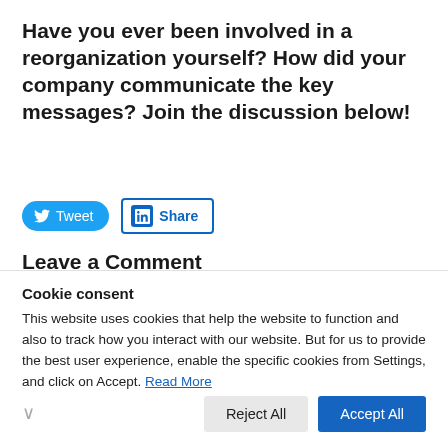Have you ever been involved in a reorganization yourself? How did your company communicate the key messages? Join the discussion below!
[Figure (other): Twitter Tweet button and LinkedIn Share button]
Leave a Comment
Your email address will not be published. Please note that we reserve the right to remove comments that we feel are off-topic or offensive. Required fields are marked with an
Cookie consent
This website uses cookies that help the website to function and also to track how you interact with our website. But for us to provide the best user experience, enable the specific cookies from Settings, and click on Accept. Read More